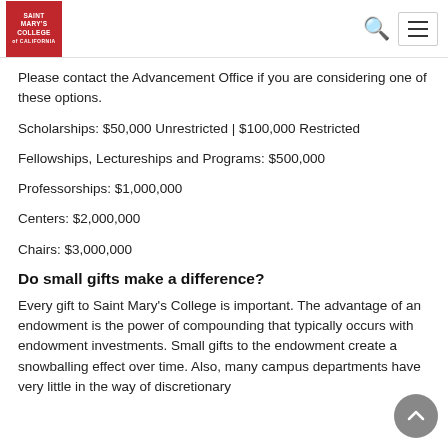Saint Mary's College of California — navigation header
Please contact the Advancement Office if you are considering one of these options.
Scholarships: $50,000 Unrestricted | $100,000 Restricted
Fellowships, Lectureships and Programs: $500,000
Professorships: $1,000,000
Centers: $2,000,000
Chairs: $3,000,000
Do small gifts make a difference?
Every gift to Saint Mary's College is important. The advantage of an endowment is the power of compounding that typically occurs with endowment investments. Small gifts to the endowment create a snowballing effect over time. Also, many campus departments have very little in the way of discretionary